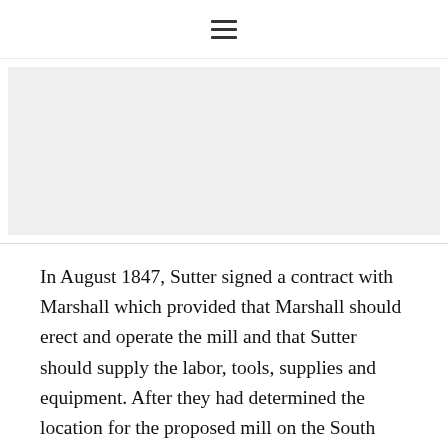☰
[Figure (other): Advertisement or placeholder image area with light gray background]
In August 1847, Sutter signed a contract with Marshall which provided that Marshall should erect and operate the mill and that Sutter should supply the labor, tools, supplies and equipment. After they had determined the location for the proposed mill on the South Fork of the American River, in a small valley which was later to be called Coloma, they